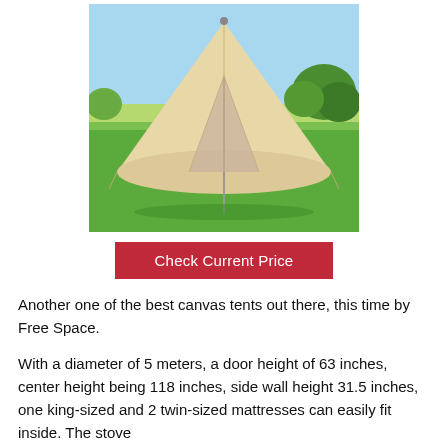[Figure (photo): A large bell tent with cream/beige canvas walls and a pointed apex, set on green grass with a blue sky and trees in the background.]
Check Current Price
Another one of the best canvas tents out there, this time by Free Space.
With a diameter of 5 meters, a door height of 63 inches, center height being 118 inches, side wall height 31.5 inches, one king-sized and 2 twin-sized mattresses can easily fit inside. The stove